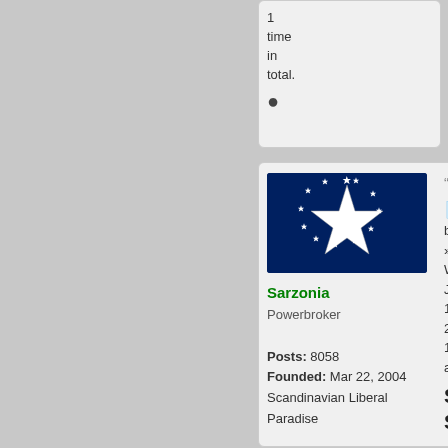1 time in total.
[Figure (illustration): Flag of Sarzonia — dark navy blue background with a large silver/white star in the center surrounded by a ring of smaller white stars]
Sarzonia
Powerbroker

Posts: 8058
Founded: Mar 22, 2004
Scandinavian Liberal Paradise
QUOTE
by Sarzonia » Wed Jul 14, 2021 10:37 am
Sa Sta
If my op| RP our ga firs the ma Ch